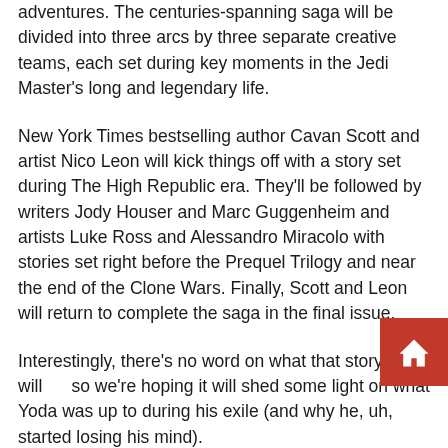adventures. The centuries-spanning saga will be divided into three arcs by three separate creative teams, each set during key moments in the Jedi Master's long and legendary life.
New York Times bestselling author Cavan Scott and artist Nico Leon will kick things off with a story set during The High Republic era. They'll be followed by writers Jody Houser and Marc Guggenheim and artists Luke Ross and Alessandro Miracolo with stories set right before the Prequel Trilogy and near the end of the Clone Wars. Finally, Scott and Leon will return to complete the saga in the final issue.
Interestingly, there's no word on what that story will, so we're hoping it will shed some light on what Yoda was up to during his exile (and why he, uh, started losing his mind).